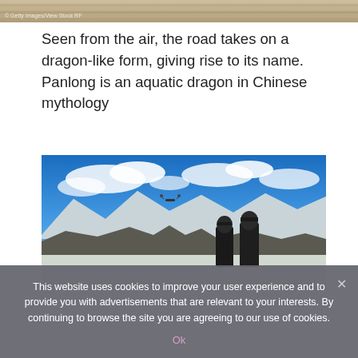[Figure (photo): Top strip of a photo showing a textured surface, partially visible, with a small watermark reading '© Getty Images/View Stock RF' in the lower left corner.]
Seen from the air, the road takes on a dragon-like form, giving rise to its name. Panlong is an aquatic dragon in Chinese mythology
[Figure (photo): Two border patrol officers in black uniforms and winter hats stand conversing against a backdrop of snow-capped mountains under a bright blue sky with clouds. A drone is visible in the air above the mountains.]
This website uses cookies to improve your user experience and to provide you with advertisements that are relevant to your interests. By continuing to browse the site you are agreeing to our use of cookies.
Ok